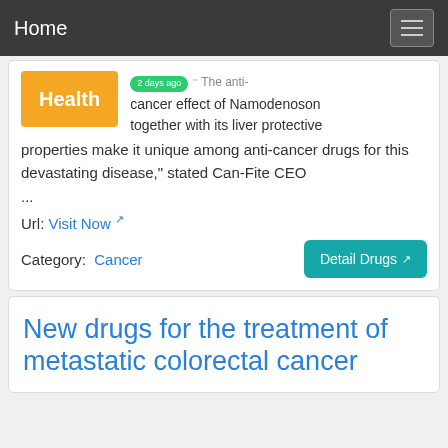Home
[Figure (other): Orange Health badge/icon]
The anti-cancer effect of Namodenoson together with its liver protective properties make it unique among anti-cancer drugs for this devastating disease," stated Can-Fite CEO ...
Url: Visit Now
Category: Cancer
New drugs for the treatment of metastatic colorectal cancer